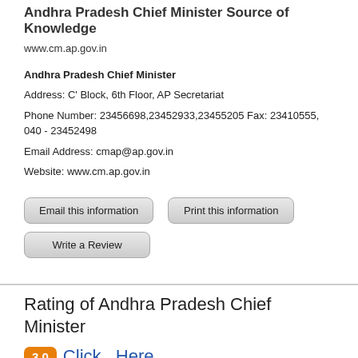Andhra Pradesh Chief Minister Source of Knowledge
www.cm.ap.gov.in
Andhra Pradesh Chief Minister
Address: C' Block, 6th Floor, AP Secretariat
Phone Number: 23456698,23452933,23455205 Fax: 23410555, 040 - 23452498
Email Address: cmap@ap.gov.in
Website: www.cm.ap.gov.in
Email this information
Print this information
Write a Review
Rating of Andhra Pradesh Chief Minister 3.0 Click Here
to add rating